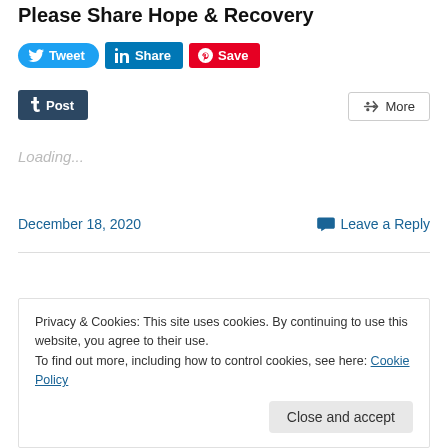Please Share Hope & Recovery
[Figure (other): Social media share buttons: Tweet (Twitter, blue), Share (LinkedIn, blue), Save (Pinterest, red), Post (Tumblr, dark navy), More (generic share, outlined)]
Loading...
December 18, 2020
Leave a Reply
Privacy & Cookies: This site uses cookies. By continuing to use this website, you agree to their use.
To find out more, including how to control cookies, see here: Cookie Policy
Close and accept